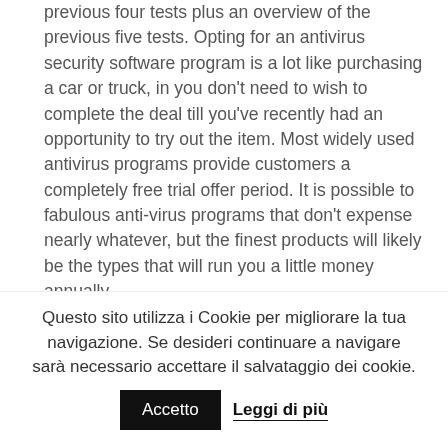previous four tests plus an overview of the previous five tests. Opting for an antivirus security software program is a lot like purchasing a car or truck, in you don't need to wish to complete the deal till you've recently had an opportunity to try out the item. Most widely used antivirus programs provide customers a completely free trial offer period. It is possible to fabulous anti-virus programs that don't expense nearly whatever, but the finest products will likely be the types that will run you a little money annually.
Consider carefully your requirements plus wallet The moment selecting a certain security method, you may want to considercarefully what you would like from that, how to get use it and exactly how much that you simply prepared to
Questo sito utilizza i Cookie per migliorare la tua navigazione. Se desideri continuare a navigare sarà necessario accettare il salvataggio dei cookie.
Accetto
Leggi di più